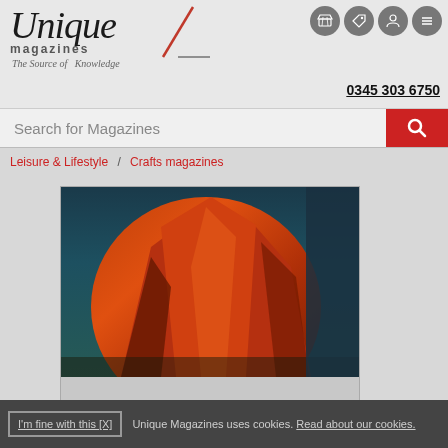Unique Magazines – The Source of Knowledge | 0345 303 6750
Search for Magazines
Leisure & Lifestyle / Crafts magazines
[Figure (photo): Magazine cover for NURTURE – red rock formation against a teal/dark blue sky, with the word NURTURE printed vertically on the right side in white serif text]
I'm fine with this [X]  Unique Magazines uses cookies. Read about our cookies.